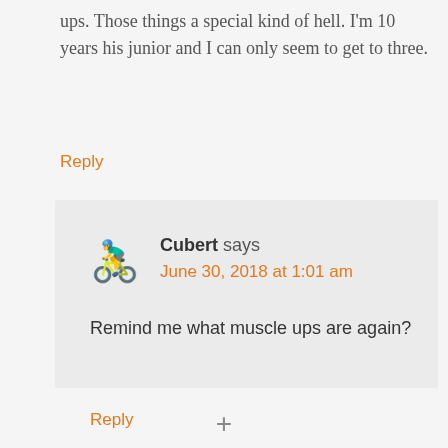ups. Those things a special kind of hell. I'm 10 years his junior and I can only seem to get to three.
Reply
Cubert says
June 30, 2018 at 1:01 am
Remind me what muscle ups are again?
Reply